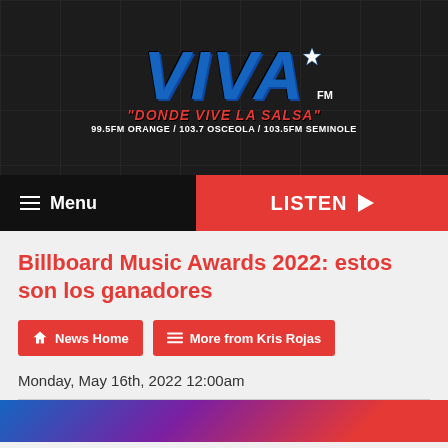[Figure (logo): Viva FM radio station logo with tagline 'Donde Vive La Salsa' and station frequencies 99.5FM Orange / 103.7 Osceola / 103.5FM Seminole, on dark background with album art mosaic]
≡ Menu   LISTEN ▶
Billboard Music Awards 2022: estos son los ganadores
News Home   More from Kris Rojas
Monday, May 16th, 2022 12:00am
[Figure (photo): Partial colorful image strip at bottom of page]